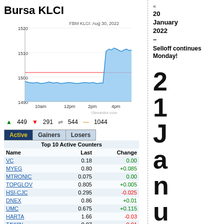Bursa KLCI
[Figure (continuous-plot): FBM KLCI intraday line chart for Aug 30, 2022. Y-axis ranges from 1490 to 1520. X-axis shows times 10am, 12pm, 2pm, 4pm. Blue area chart showing KLCI hovering around 1497-1502 for most of the day then spiking up to ~1512 around 4pm. Red horizontal reference line at ~1502.]
▲ 449  ▼ 291  ⇌ 544  — 1044
| Name | Last | Change |
| --- | --- | --- |
| VC | 0.18 | 0.00 |
| MYEG | 0.80 | +0.085 |
| MTRONIC | 0.075 | 0.00 |
| TOPGLOV | 0.805 | +0.005 |
| HSI-CJC | 0.295 | -0.025 |
| DNEX | 0.86 | +0.01 |
| UMC | 0.675 | +0.115 |
| HARTA | 1.66 | -0.03 |
| TAWIN | 0.07 | -0.01 |
| AGMO | 0.95 | +0.03 |
« 20 January 2022 – Selloff continues Monday!
2 1 J a n u a